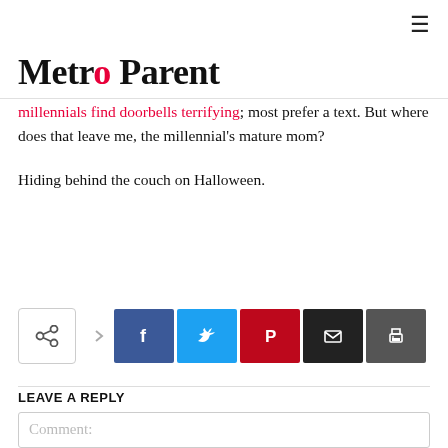Metro Parent
millennials find doorbells terrifying; most prefer a text. But where does that leave me, the millennial's mature mom?
Hiding behind the couch on Halloween.
[Figure (infographic): Social share buttons row: share icon box, arrow, Facebook (blue), Twitter (cyan), Pinterest (red), Email (black), Print (dark gray)]
LEAVE A REPLY
Comment: